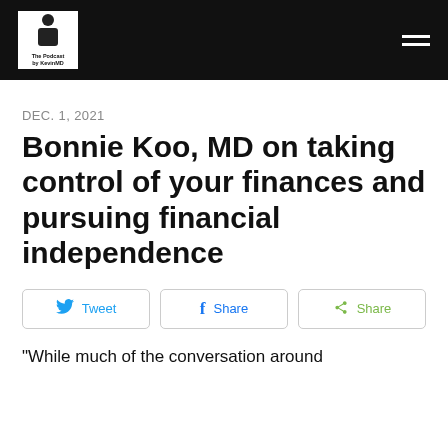[Figure (logo): The Podcast by KevinMD logo — white box with silhouette figure and text]
DEC. 1, 2021
Bonnie Koo, MD on taking control of your finances and pursuing financial independence
Tweet | Share | Share
"While much of the conversation around